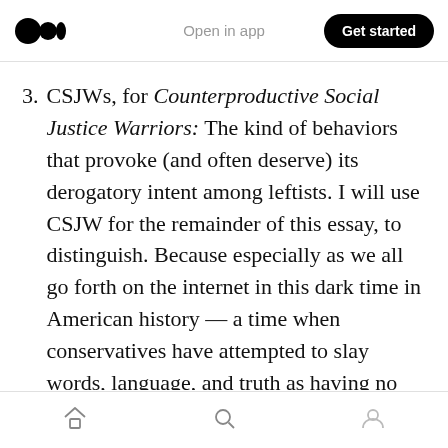Open in app | Get started
CSJWs, for Counterproductive Social Justice Warriors: The kind of behaviors that provoke (and often deserve) its derogatory intent among leftists. I will use CSJW for the remainder of this essay, to distinguish. Because especially as we all go forth on the internet in this dark time in American history — a time when conservatives have attempted to slay words, language, and truth as having no real meaning, it becomes increasingly important that liberals counter all that with the aggressive use of direct, specific
Home | Search | Profile